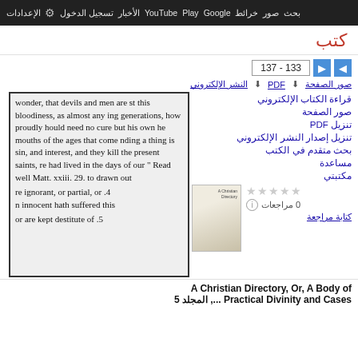بحث صور خرائط Google Play YouTube الأخبار تسجيل الدخول الإعدادات
كتب
133 - 137
صور الصفحة  PDF  النشر الإلكتروني
قراءة الكتاب الإلكتروني
صور الصفحة
تنزيل PDF
تنزيل إصدار النشر الإلكتروني
بحث متقدم في الكتب
مساعدة
مكتبتي
0 مراجعات
كتابة مراجعة
[Figure (other): Book thumbnail/cover image placeholder]
wonder, that devils and men are st this bloodiness, as almost any ing generations, how proudly hould need no cure but his own he mouths of the ages that come nding a thing is sin, and interest, and they kill the present saints, re had lived in the days of our " Read well Matt. xxiii. 29. to drawn out

re ignorant, or partial, or .4
n innocent hath suffered this

or are kept destitute of .5
A Christian Directory, Or, A Body of Practical Divinity and Cases ..., المجلد 5